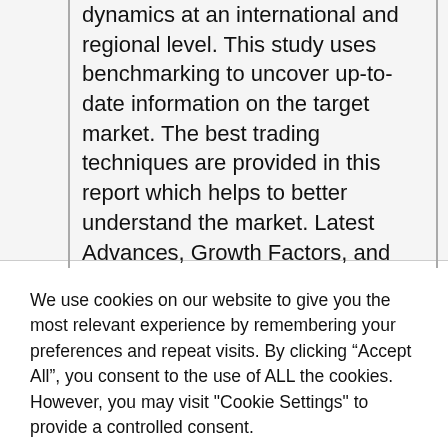dynamics at an international and regional level. This study uses benchmarking to uncover up-to-date information on the target market. The best trading techniques are provided in this report which helps to better understand the market. Latest Advances, Growth Factors, and Competitive Analysis are all covered in this Mineral Cosmetics Market report. He highlighted some of the most effective marketing strategies
We use cookies on our website to give you the most relevant experience by remembering your preferences and repeat visits. By clicking “Accept All”, you consent to the use of ALL the cookies. However, you may visit "Cookie Settings" to provide a controlled consent.